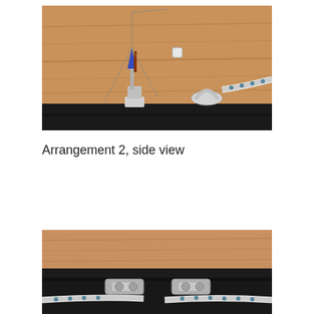[Figure (photo): Side view of nautical/sailing hardware arrangement showing metal cleats, stanchions and rope on a dark railing with wooden background]
Arrangement 2, side view
[Figure (photo): Close-up view of sailing rope hardware and cleats mounted on a dark railing with wooden surface, showing detailed arrangement from below]